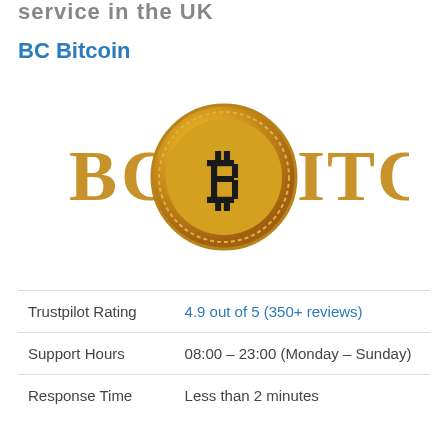service in the UK
BC Bitcoin
[Figure (logo): BC Bitcoin logo: golden coin with Bitcoin symbol and text 'BC BITCOIN' in gold lettering]
| Trustpilot Rating | 4.9 out of 5 (350+ reviews) |
| Support Hours | 08:00 – 23:00 (Monday – Sunday) |
| Response Time | Less than 2 minutes |